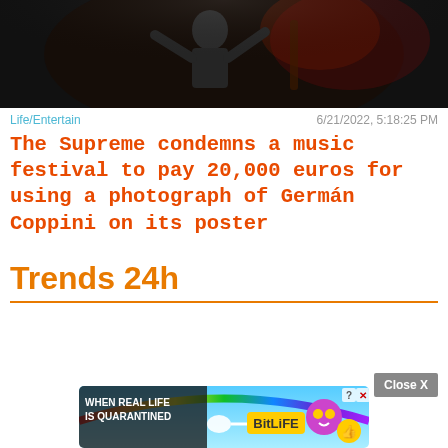[Figure (photo): Dark concert photo showing a performer on stage with arms raised, dark background with reddish lighting]
Life/Entertain	6/21/2022, 5:18:25 PM
The Supreme condemns a music festival to pay 20,000 euros for using a photograph of Germán Coppini on its poster
Trends 24h
[Figure (screenshot): Close X button and advertisement banner for BitLife game: WHEN REAL LIFE IS QUARANTINED with colorful graphics and emoji icons]